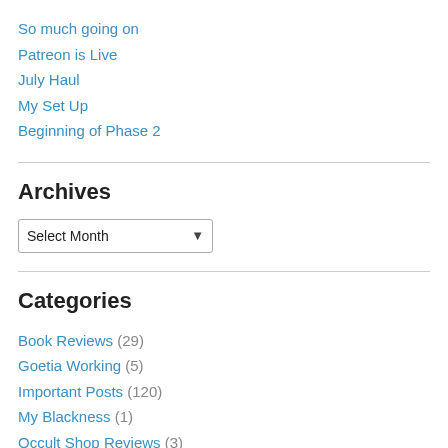So much going on
Patreon is Live
July Haul
My Set Up
Beginning of Phase 2
Archives
Select Month
Categories
Book Reviews (29)
Goetia Working (5)
Important Posts (120)
My Blackness (1)
Occult Shop Reviews (3)
Rituals and Workings (370)